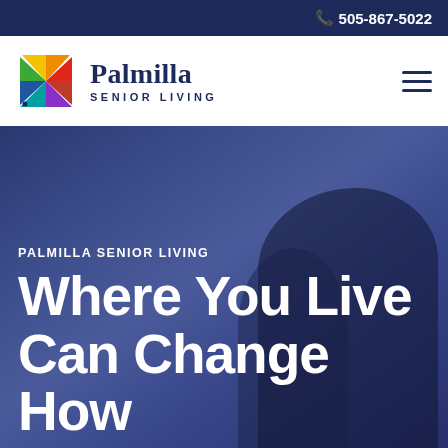📞 505-867-5022
[Figure (logo): Palmilla Senior Living logo with colorful pinwheel/star icon and text 'Palmilla SENIOR LIVING']
PALMILLA SENIOR LIVING
Where You Live Can Change How